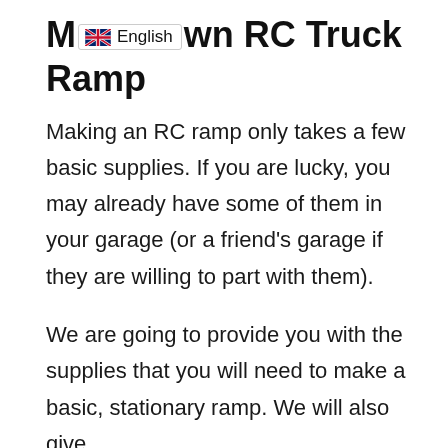Make Your Own RC Truck Ramp
Making an RC ramp only takes a few basic supplies. If you are lucky, you may already have some of them in your garage (or a friend’s garage if they are willing to part with them).
We are going to provide you with the supplies that you will need to make a basic, stationary ramp. We will also give